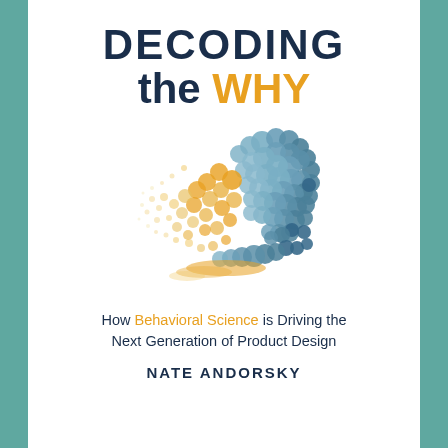DECODING the WHY
[Figure (illustration): A silhouette of a human head in profile facing right, composed of blue/teal circles of varying sizes. From the left side of the head, golden/yellow circles disperse outward to the left, becoming smaller and more scattered, suggesting thoughts or data points dissolving or emerging from the mind.]
How Behavioral Science is Driving the Next Generation of Product Design
NATE ANDORSKY